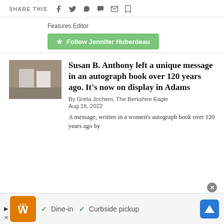SHARE THIS
Features Editor
★ Follow Jennifer Huberdeau
Susan B. Anthony left a unique message in an autograph book over 120 years ago. It's now on display in Adams
By Greta Jochem, The Berkshire Eagle
Aug 18, 2022
A message, written in a women's autograph book over 120 years ago by
[Figure (photo): Thumbnail photo related to the Susan B. Anthony autograph book article]
✓ Dine-in ✓ Curbside pickup